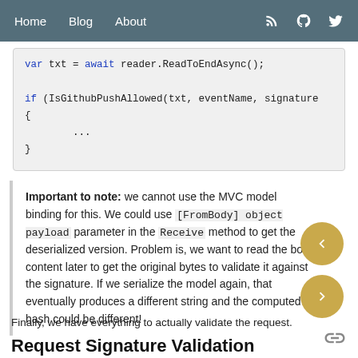Home  Blog  About
[Figure (screenshot): Code snippet showing: var txt = await reader.ReadToEndAsync(); if (IsGithubPushAllowed(txt, eventName, signature { { ... }]
Important to note: we cannot use the MVC model binding for this. We could use [FromBody] object payload parameter in the Receive method to get the deserialized version. Problem is, we want to read the body content later to get the original bytes to validate it against the signature. If we serialize the model again, that eventually produces a different string and the computed hash could be different!
Finally, we have everything to actually validate the request.
Request Signature Validation